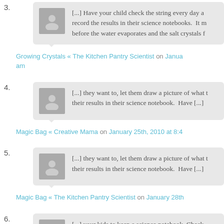3. [...] Have your child check the string every day and record the results in their science notebooks. It m before the water evaporates and the salt crystals f
Growing Crystals « The Kitchen Pantry Scientist on Janua am
4. [...] they want to, let them draw a picture of what t their results in their science notebook. Have [...]
Magic Bag « Creative Mama on January 25th, 2010 at 8:4
5. [...] they want to, let them draw a picture of what t their results in their science notebook. Have [...]
Magic Bag « The Kitchen Pantry Scientist on January 28th
6. [...] your kids to keep a science notebook. Check The Kitchen Pantry Scientist for [...]